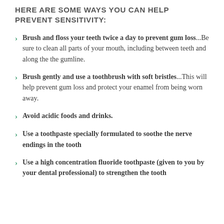HERE ARE SOME WAYS YOU CAN HELP PREVENT SENSITIVITY:
Brush and floss your teeth twice a day to prevent gum loss...Be sure to clean all parts of your mouth, including between teeth and along the the gumline.
Brush gently and use a toothbrush with soft bristles...This will help prevent gum loss and protect your enamel from being worn away.
Avoid acidic foods and drinks.
Use a toothpaste specially formulated to soothe the nerve endings in the tooth
Use a high concentration fluoride toothpaste (given to you by your dental professional) to strengthen the tooth